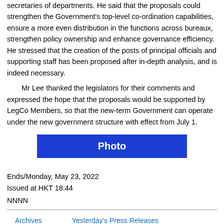secretaries of departments. He said that the proposals could strengthen the Government's top-level co-ordination capabilities, ensure a more even distribution in the functions across bureaux, strengthen policy ownership and enhance governance efficiency. He stressed that the creation of the posts of principal officials and supporting staff has been proposed after in-depth analysis, and is indeed necessary.
Mr Lee thanked the legislators for their comments and expressed the hope that the proposals would be supported by LegCo Members, so that the new-term Government can operate under the new government structure with effect from July 1.
[Figure (other): Blue button labeled 'Photo']
Ends/Monday, May 23, 2022
Issued at HKT 18:44
NNNN
Archives   Yesterday's Press Releases
Back to Index Page   Back to top